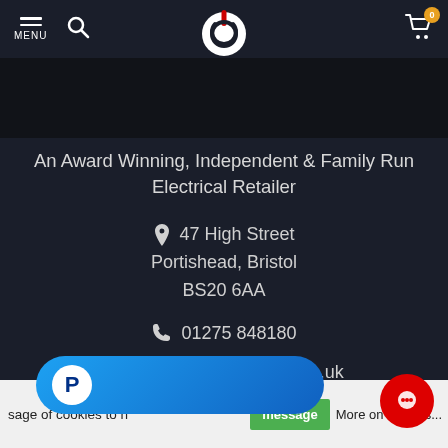MENU | [search icon] | [logo] | [cart icon] 0
[Figure (logo): Power button logo: white circle with red power icon on dark background]
An Award Winning, Independent & Family Run Electrical Retailer
47 High Street
Portishead, Bristol
BS20 6AA
01275 848180
sales@powerbutton.co.uk
sage of cookies to help make
More on cookies...